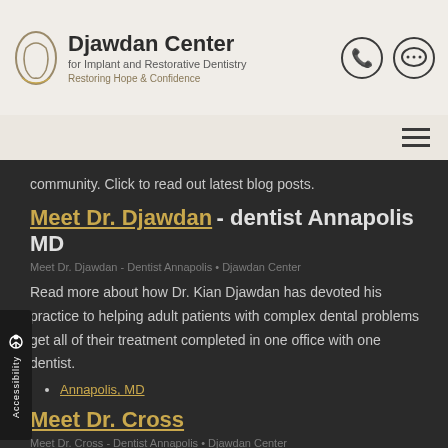Djawdan Center for Implant and Restorative Dentistry — Restoring Hope & Confidence
community. Click to read out latest blog posts.
Meet Dr. Djawdan - dentist Annapolis MD
Meet Dr. Djawdan - Dentist Annapolis • Djawdan Center
Read more about how Dr. Kian Djawdan has devoted his practice to helping adult patients with complex dental problems get all of their treatment completed in one office with one dentist.
Annapolis, MD
Meet Dr. Cross
Meet Dr. Cross - Dentist Annapolis • Djawdan Center
Dr. Cross' specialty training makes him uniquely positioned to diagnose, treatment plan and execute treatment of patients with highly complex prosthetic and implant needs.
Annapolis, MD